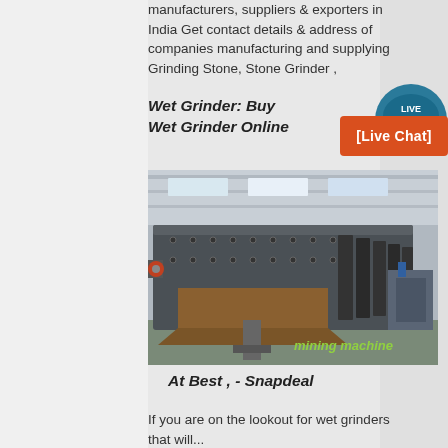manufacturers, suppliers & exporters in India Get contact details & address of companies manufacturing and supplying Grinding Stone, Stone Grinder ,
Wet Grinder: Buy Wet Grinder Online
[Figure (other): Live Chat button - circular teal badge with speech bubble icon, text LIVE CHAT]
[Figure (other): Orange rectangle button with text [Live Chat]]
[Figure (photo): Industrial mining/screening machine (vibrating screen) in a large factory/warehouse, with text overlay 'mining machine' in green italic]
At Best , - Snapdeal
If you are on the lookout for wet grinders that will...